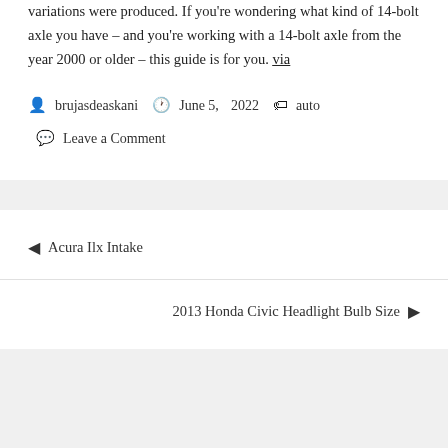variations were produced. If you're wondering what kind of 14-bolt axle you have – and you're working with a 14-bolt axle from the year 2000 or older – this guide is for you. via
brujasdeaskani  June 5, 2022  auto  Leave a Comment
◄ Acura Ilx Intake
2013 Honda Civic Headlight Bulb Size ►